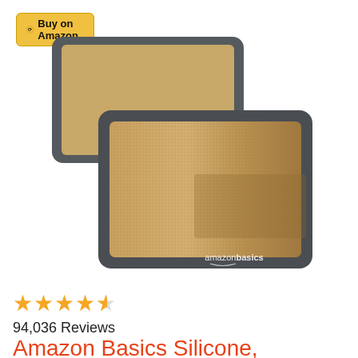[Figure (other): Yellow button with Amazon logo and text 'Buy on Amazon']
[Figure (photo): Two AmazonBasics silicone baking mats with dark gray borders and tan/beige mesh surface, stacked slightly offset, with amazonbasics logo visible on front mat]
[Figure (other): 4.5 out of 5 stars rating shown as gold star icons]
94,036 Reviews
Amazon Basics Silicone,